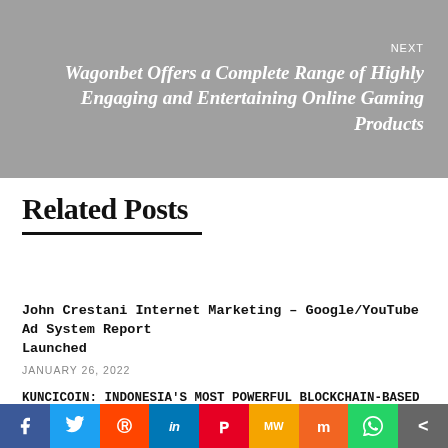[Figure (other): Gray banner with NEXT navigation label and article title in white italic bold text reading: Wagonbet Offers a Complete Range of Highly Engaging and Entertaining Online Gaming Products]
Related Posts
John Crestani Internet Marketing – Google/YouTube Ad System Report Launched
JANUARY 26, 2022
KUNCICOIN: INDONESIA'S MOST POWERFUL BLOCKCHAIN-BASED
[Figure (infographic): Social sharing bar with icons: Facebook (blue), Twitter (light blue), Reddit (orange-red), LinkedIn (dark blue), Pinterest (red), MeWe (orange-yellow), Mix (orange), WhatsApp (green), Share (gray)]